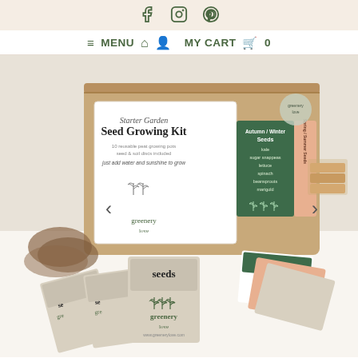Social media icons: Facebook, Instagram, Pinterest
≡ MENU  🏠  👤  MY CART  🛒  0
[Figure (photo): Product photo of a Starter Garden Seed Growing Kit in a kraft cardboard box. The box label reads 'Starter Garden Seed Growing Kit' with Autumn/Winter Seeds and Spring/Summer Seeds panels in green and peach colours. The greenery love brand logo is shown. In front of the box are scattered seed packets labelled 'seeds' and 'greenery love', peat pots stacked on the right, soil discs on the left, and gardening instruction cards.]